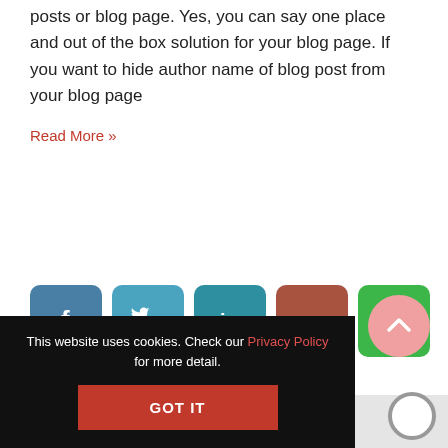posts or blog page. Yes, you can say one place and out of the box solution for your blog page. If you want to hide author name of blog post from your blog page
Read More »
[Figure (infographic): Row of five social media share buttons: Facebook (blue), Twitter (light blue), LinkedIn (teal), Pinterest (dark red), WhatsApp (green), each with rounded corners and white icons]
[Figure (illustration): Pink circular scroll-to-top button with upward chevron icon]
This website uses cookies. Check our Privacy Policy for more detail.
GOT IT